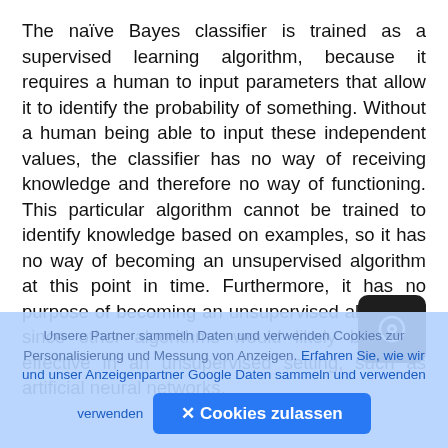The naïve Bayes classifier is trained as a supervised learning algorithm, because it requires a human to input parameters that allow it to identify the probability of something. Without a human being able to input these independent values, the classifier has no way of receiving knowledge and therefore no way of functioning. This particular algorithm cannot be trained to identify knowledge based on examples, so it has no way of becoming an unsupervised algorithm at this point in time. Furthermore, it has no purpose of becoming an unsupervised algorithm, since other algorithms would likely be more effective in an unsupervised setting, such as artificial neural networks.
Unsere Partner sammeln Daten und verwenden Cookies zur Personalisierung und Messung von Anzeigen. Erfahren Sie, wie wir und unser Anzeigenpartner Google Daten sammeln und verwenden